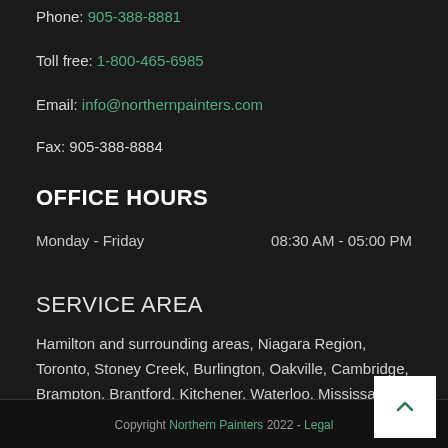Phone: 905-388-8881
Toll free: 1-800-465-6985
Email: info@northernpainters.com
Fax: 905-388-8884
OFFICE HOURS
Monday - Friday   08:30 AM - 05:00 PM
SERVICE AREA
Hamilton and surrounding areas, Niagara Region, Toronto, Stoney Creek, Burlington, Oakville, Cambridge, Brampton, Brantford, Kitchener, Waterloo, Mississauga
Copyright Northern Painters 2022 - Legal